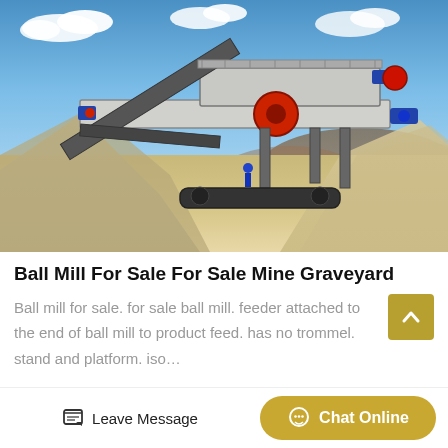[Figure (photo): Large mobile mining/crushing and screening equipment (crusher plant on tracks) in an outdoor quarry setting with gravel piles, sandy ground, blue sky with clouds, and hills in the background.]
Ball Mill For Sale For Sale Mine Graveyard
Ball mill for sale. for sale ball mill. feeder attached to the end of ball mill to product feed. has no trommel. stand and platform. iso…